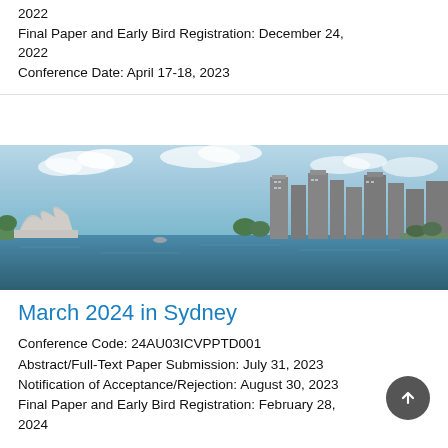2022
Final Paper and Early Bird Registration: December 24, 2022
Conference Date: April 17-18, 2023
[Figure (photo): Panoramic photo of Sydney harbour showing the Sydney Opera House on the left and city skyline with skyscrapers on the right, taken from across the water.]
March 2024 in Sydney
Conference Code: 24AU03ICVPPTD001
Abstract/Full-Text Paper Submission: July 31, 2023
Notification of Acceptance/Rejection: August 30, 2023
Final Paper and Early Bird Registration: February 28, 2024